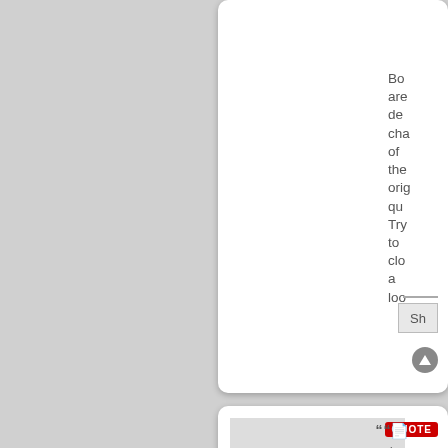[Figure (screenshot): Top card showing truncated text: 'Bo are de cha of the orig qu Try to clo a loo', with a divider, submit button, and arrow button at bottom right.]
[Figure (screenshot): Bottom card with 'EX-NATION' thumbnail image on left, QUOTE badge top right, file icon, 'by Melon feud', arrow, date 'Mon Nov 05', title 'Melon feud', subtitle 'Envoy'.]